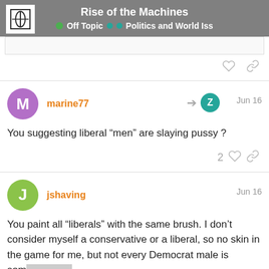Rise of the Machines · Off Topic · Politics and World Iss
You suggesting liberal “men” are slaying pussy ?
You paint all “liberals” with the same brush. I don’t consider myself a conservative or a liberal, so no skin in the game for me, but not every Democrat male is som... championing trans rights, or whatever yo...